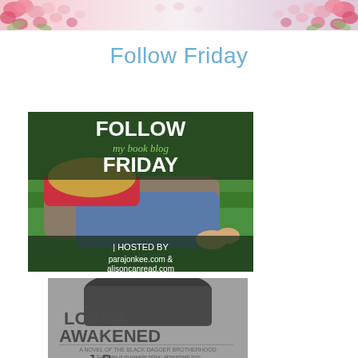[Figure (illustration): Floral decorative banner with pink roses and flowers at top of page]
Follow Friday
[Figure (photo): Follow my book blog Friday hosted by parajonkee.com and alisoncanread.com - image of a girl lying on grass reading]
[Figure (photo): Book cover of Lover Awakened, A Novel of the Black Dagger Brotherhood by J.R. Ward]